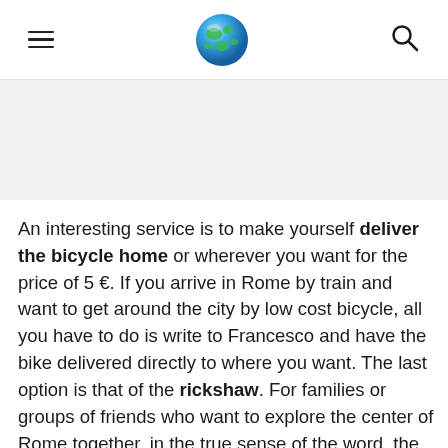[menu icon] [globe logo] [search icon]
[Figure (other): Gray banner/image placeholder area]
An interesting service is to make yourself deliver the bicycle home or wherever you want for the price of 5 €. If you arrive in Rome by train and want to get around the city by low cost bicycle, all you have to do is write to Francesco and have the bike delivered directly to where you want. The last option is that of the rickshaw. For families or groups of friends who want to explore the center of Rome together, in the true sense of the word, the rickshaw allows you to move around together without getting lost. Brilliant idea!